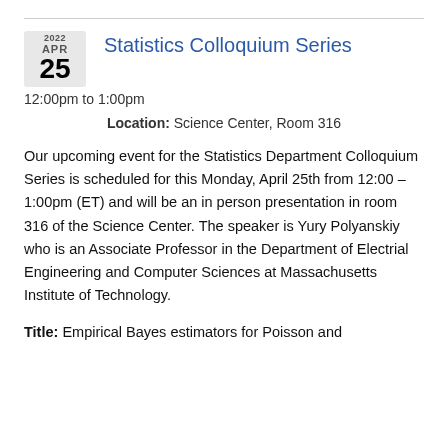Statistics Colloquium Series
2022 APR 25
12:00pm to 1:00pm
Location: Science Center, Room 316
Our upcoming event for the Statistics Department Colloquium Series is scheduled for this Monday, April 25th from 12:00 – 1:00pm (ET) and will be an in person presentation in room 316 of the Science Center. The speaker is Yury Polyanskiy who is an Associate Professor in the Department of Electrial Engineering and Computer Sciences at Massachusetts Institute of Technology.
Title: Empirical Bayes estimators for Poisson and